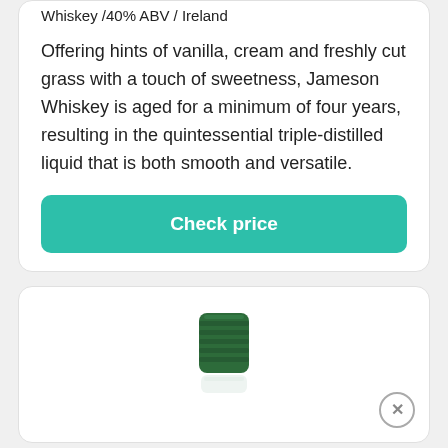Whiskey /40% ABV / Ireland
Offering hints of vanilla, cream and freshly cut grass with a touch of sweetness, Jameson Whiskey is aged for a minimum of four years, resulting in the quintessential triple-distilled liquid that is both smooth and versatile.
Check price
[Figure (photo): Green bottle cap of a Jameson Whiskey bottle, partially visible from the top, with a faint reflection below on a white background.]